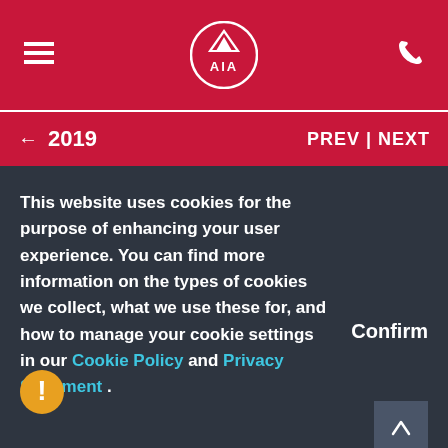AIA - Navigation bar with hamburger menu, AIA logo, and phone icon
← 2019   PREV | NEXT
India and a representative office in Myanmar.
This website uses cookies for the purpose of enhancing your user experience. You can find more information on the types of cookies we collect, what we use these for, and how to manage your cookie settings in our Cookie Policy and Privacy Statement .
Confirm
agents, partners and employees across Asia-Pacific